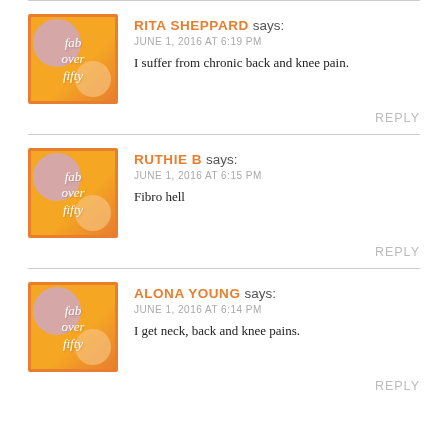RITA SHEPPARD says: JUNE 1, 2016 AT 6:19 PM — I suffer from chronic back and knee pain. REPLY
RUTHIE B says: JUNE 1, 2016 AT 6:15 PM — Fibro hell REPLY
ALONA YOUNG says: JUNE 1, 2016 AT 6:14 PM — I get neck, back and knee pains. REPLY